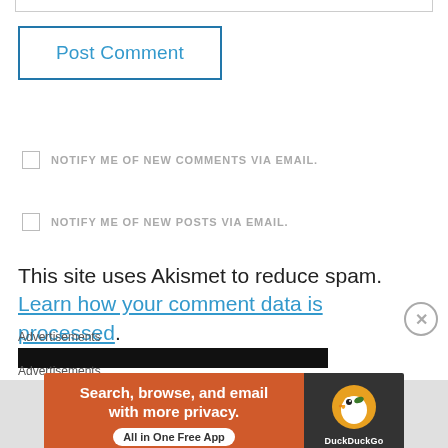[Figure (screenshot): Partial input field border at top of page]
Post Comment
NOTIFY ME OF NEW COMMENTS VIA EMAIL.
NOTIFY ME OF NEW POSTS VIA EMAIL.
This site uses Akismet to reduce spam. Learn how your comment data is processed.
Advertisements
[Figure (screenshot): Black advertisement bar]
Advertisements
[Figure (screenshot): DuckDuckGo advertisement banner - Search, browse, and email with more privacy. All in One Free App]